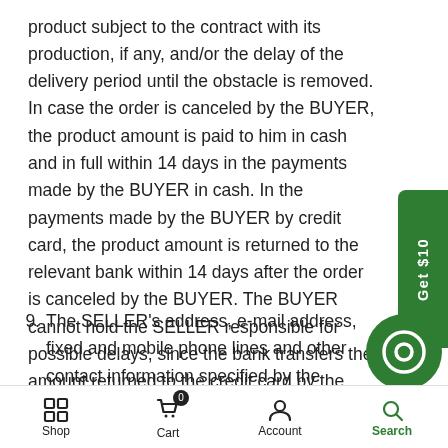product subject to the contract with its production, if any, and/or the delay of the delivery period until the obstacle is removed. In case the order is canceled by the BUYER, the product amount is paid to him in cash and in full within 14 days in the payments made by the BUYER in cash. In the payments made by the BUYER by credit card, the product amount is returned to the relevant bank within 14 days after the order is canceled by the BUYER. The BUYER cannot hold the SELLER responsible for possible delays, since the bank transfers the amount returned to the credit card by the SELLER to the BUYER's account, on average, can take up to 2 weeks. accepts, declares and undertakes.
9. The SELLER's address, e-mail address, fixed and mobile phone lines and other contact information specified by the BUYER in the registration form on the site or updated later by him, via letter, e-mail, SMS, p...
Shop | Cart 0 | Account | Search